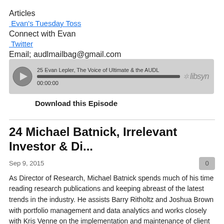Articles
Evan's Tuesday Toss
Connect with Evan
Twitter
Email; audlmailbag@gmail.com
[Figure (other): Audio player widget showing episode '25 Evan Lepler, The Voice of Ultimate & the AUDL' with play button, progress bar showing 00:00:00, and Libsyn logo]
Download this Episode
24 Michael Batnick, Irrelevant Investor & Di...
Sep 9, 2015
As Director of Research, Michael Batnick spends much of his time reading research publications and keeping abreast of the latest trends in the industry. He assists Barry Ritholtz and Joshua Brown with portfolio management and data analytics and works closely with Kris Venne on the implementation and maintenance of client investments.